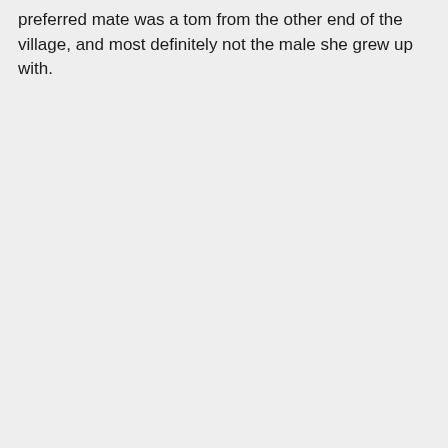preferred mate was a tom from the other end of the village, and most definitely not the male she grew up with.